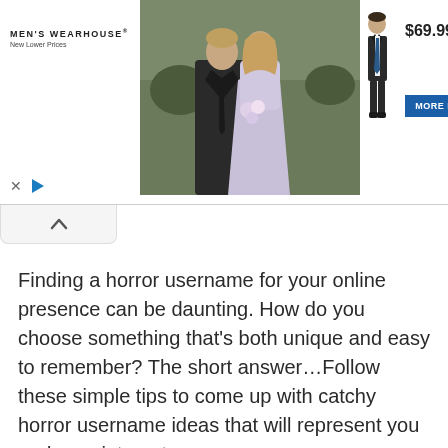[Figure (infographic): Men's Wearhouse advertisement banner showing a couple in formalwear on the left photo section, a boy in a suit product image, price of $69.99, and a MORE INFO button. Ad controls (X and play button) visible at bottom left. Brand name 'MEN'S WEARHOUSE' with tagline 'New Lower Prices' also shown.]
[Figure (other): Collapse/minimize tab with upward chevron arrow icon below the advertisement banner.]
Finding a horror username for your online presence can be daunting. How do you choose something that's both unique and easy to remember? The short answer…Follow these simple tips to come up with catchy horror username ideas that will represent you and your interests.